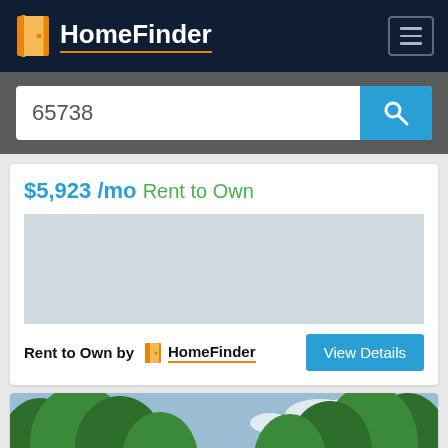HomeFinder
65738
$5,923 /mo Rent to Own
Rent to Own by HomeFinder
View Details
[Figure (photo): Street view photo showing a tree-lined road with green foliage on both sides and a partly cloudy sky]